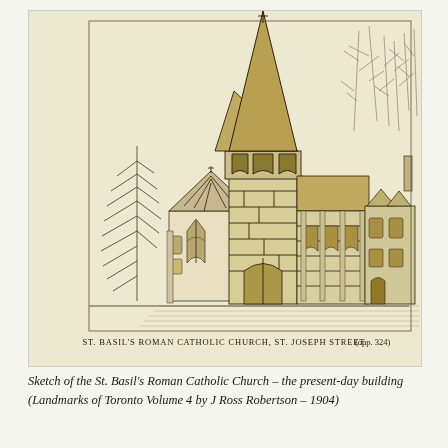[Figure (illustration): Architectural sketch of St. Basil's Roman Catholic Church on St. Joseph Street, Toronto. The drawing shows a Gothic-style stone church with a tall central spire topped by a cross, pointed arched windows including a large rose window, and adjacent buildings. Trees are visible in the background and foreground. An inner caption reads: ST. BASIL'S ROMAN CATHOLIC CHURCH, ST. JOSEPH STREET. (opp. 324). From Landmarks of Toronto Volume 4 by J Ross Robertson, 1904.]
Sketch of the St. Basil's Roman Catholic Church – the present-day building (Landmarks of Toronto Volume 4 by J Ross Robertson – 1904)